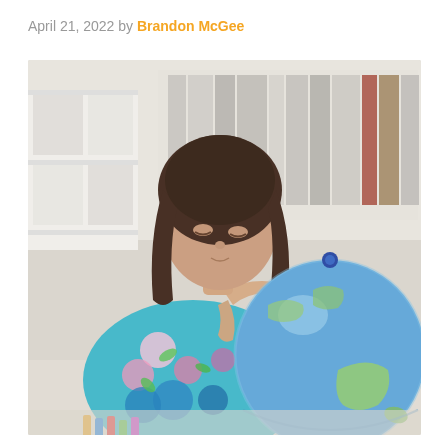April 21, 2022 by Brandon McGee
[Figure (photo): A young girl with long dark hair wearing a colorful floral dress, sitting on the floor and examining a large blue inflatable globe. In the background are white shelves with books and binders.]